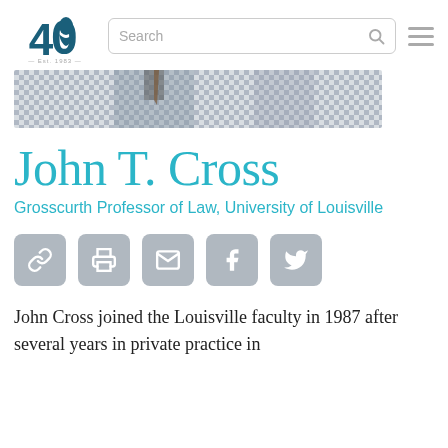40 [logo] | Search | [hamburger menu]
[Figure (photo): Close-up photo of person wearing a plaid/checkered shirt, cropped to show fabric and neck area]
John T. Cross
Grosscurth Professor of Law, University of Louisville
[Figure (infographic): Row of five social media/action icon buttons: link, print, email, Facebook, Twitter]
John Cross joined the Louisville faculty in 1987 after several years in private practice in